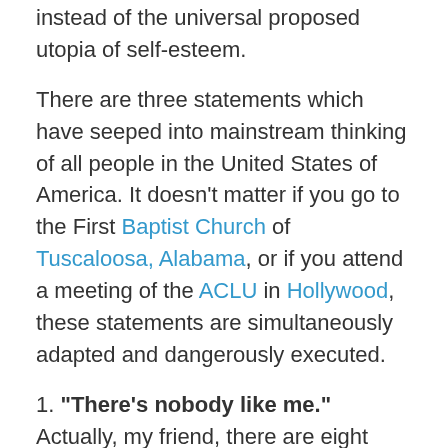instead of the universal proposed utopia of self-esteem.
There are three statements which have seeped into mainstream thinking of all people in the United States of America. It doesn't matter if you go to the First Baptist Church of Tuscaloosa, Alabama, or if you attend a meeting of the ACLU in Hollywood, these statements are simultaneously adapted and dangerously executed.
1. "There's nobody like me." Actually, my friend, there are eight billion and counting. Separating yourself from the herd does not make you any less a cow. The beauty of our race is in our similarities, predilections, inadequacies, intelligence and fellowship. The power is NOT in isolating our whims as curiosities.
2. "I was born this way." You may want to go ga-ga over that statement, but you must realize that you cannot